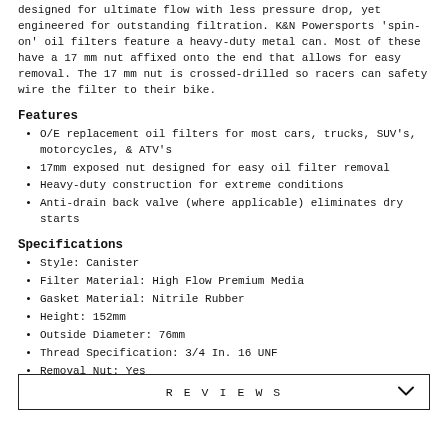designed for ultimate flow with less pressure drop, yet engineered for outstanding filtration. K&N Powersports 'spin-on' oil filters feature a heavy-duty metal can. Most of these have a 17 mm nut affixed onto the end that allows for easy removal. The 17 mm nut is crossed-drilled so racers can safety wire the filter to their bike.
Features
O/E replacement oil filters for most cars, trucks, SUV's, motorcycles, & ATV's
17mm exposed nut designed for easy oil filter removal
Heavy-duty construction for extreme conditions
Anti-drain back valve (where applicable) eliminates dry starts
Specifications
Style: Canister
Filter Material: High Flow Premium Media
Gasket Material: Nitrile Rubber
Height: 152mm
Outside Diameter: 76mm
Thread Specification: 3/4 In. 16 UNF
Removal Nut: Yes
REVIEWS